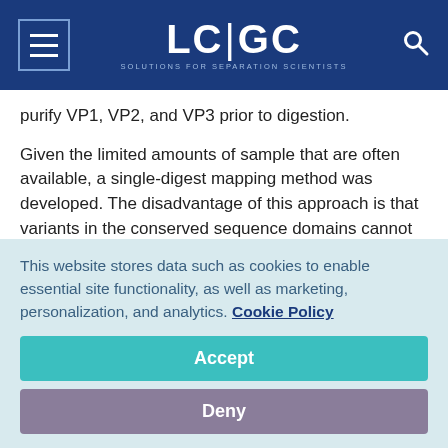LC|GC SOLUTIONS FOR SEPARATION SCIENTISTS
purify VP1, VP2, and VP3 prior to digestion.
Given the limited amounts of sample that are often available, a single-digest mapping method was developed. The disadvantage of this approach is that variants in the conserved sequence domains cannot be attributed to a VP protein type. The use of a single digest also presents a dynamic range challenge for UV absorbance detection of the peptide map given the greater than 10-fold abundance of VP2
This website stores data such as cookies to enable essential site functionality, as well as marketing, personalization, and analytics. Cookie Policy
Accept
Deny